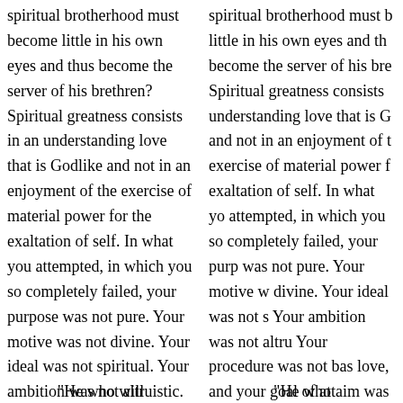spiritual brotherhood must become little in his own eyes and thus become the server of his brethren? Spiritual greatness consists in an understanding love that is Godlike and not in an enjoyment of the exercise of material power for the exaltation of self. In what you attempted, in which you so completely failed, your purpose was not pure. Your motive was not divine. Your ideal was not spiritual. Your ambition was not altruistic. Your procedure was not based on love, and your goal of attainment was not the will of the Father in heaven.
spiritual brotherhood must become little in his own eyes and thus become the server of his brethren? Spiritual greatness consists in an understanding love that is Godlike and not in an enjoyment of the exercise of material power for the exaltation of self. In what you attempted, in which you so completely failed, your purpose was not pure. Your motive was not divine. Your ideal was not spiritual. Your ambition was not altruistic. Your procedure was not based on love, and your goal of attainment was not the will of the Father in heaven.
“He who will…
“He who…